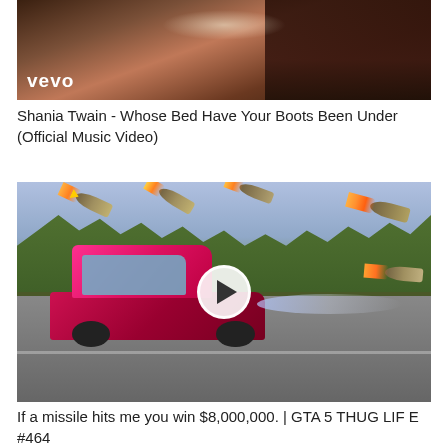[Figure (screenshot): Thumbnail image of Shania Twain music video from Vevo, showing a woman smiling with the Vevo logo in white text at the bottom left]
Shania Twain - Whose Bed Have Your Boots Been Under (Official Music Video)
[Figure (screenshot): Thumbnail of a GTA 5 video showing a pink/red sports car being chased by missiles with a play button overlay in the center]
If a missile hits me you win $8,000,000. | GTA 5 THUG LIFE #464